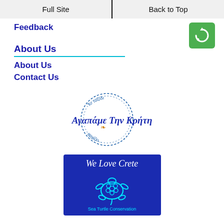Full Site | Back to Top
Feedback
[Figure (logo): Green icon with rotate/refresh symbol]
About Us
About Us
Contact Us
[Figure (logo): Greek circular logo: Αγαπάμε Την Κρήτη - To taxidi arxizei with decorative script]
[Figure (illustration): We Love Crete - Sea Turtle Conservation logo on dark blue background with cyan turtle illustration]